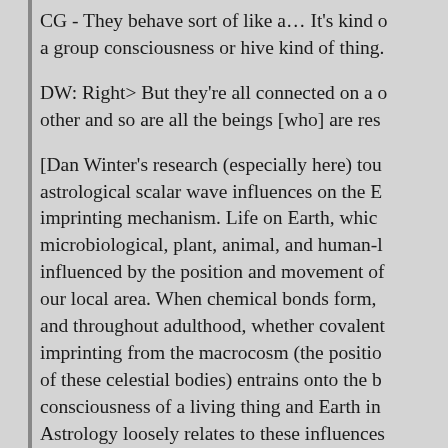CG - They behave sort of like a… It's kind of a group consciousness or hive kind of thing.
DW: Right> But they're all connected on a … other and so are all the beings [who] are res…
[Dan Winter's research (especially here) tou… astrological scalar wave influences on the E… imprinting mechanism. Life on Earth, which… microbiological, plant, animal, and human-l… influenced by the position and movement of… our local area. When chemical bonds form, … and throughout adulthood, whether covalent… imprinting from the macrocosm (the positio… of these celestial bodies) entrains onto the b… consciousness of a living thing and Earth in… Astrology loosely relates to these influences… taking place on all these respective worlds a… the Earth, greatly affecting political and soc… patterns. DW also speaks to this notion of th… through the Heroes Journey originally pros…